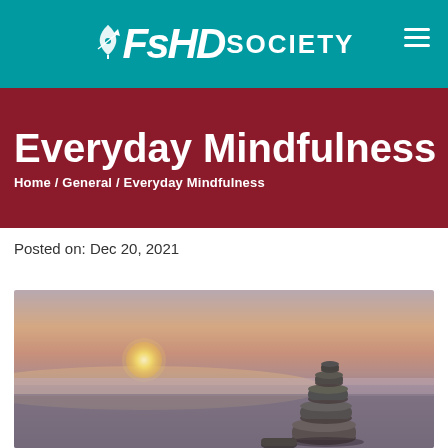FSHD SOCIETY
Everyday Mindfulness
Home / General / Everyday Mindfulness
Posted on: Dec 20, 2021
[Figure (photo): Zen stones stacked on a misty surface with a sunset in the background — a mindfulness/meditation themed photo]